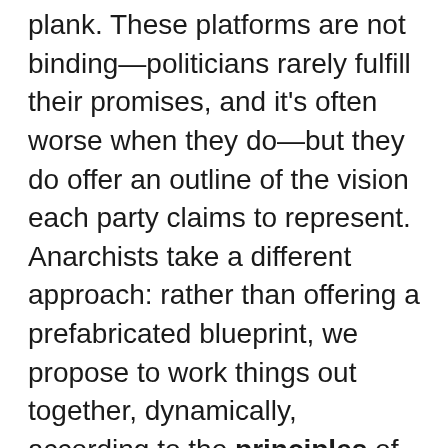plank. These platforms are not binding—politicians rarely fulfill their promises, and it's often worse when they do—but they do offer an outline of the vision each party claims to represent. Anarchists take a different approach: rather than offering a prefabricated blueprint, we propose to work things out together, dynamically, according to the principles of self-determination, horizontality, mutual aid, and solidarity. Still, whenever people encounter anarchist ideas for the first time, there is a certain kind of person who always demands to see a clear template. In response, one of our contributors has put together an example of an anarchist program—a set of proposals that